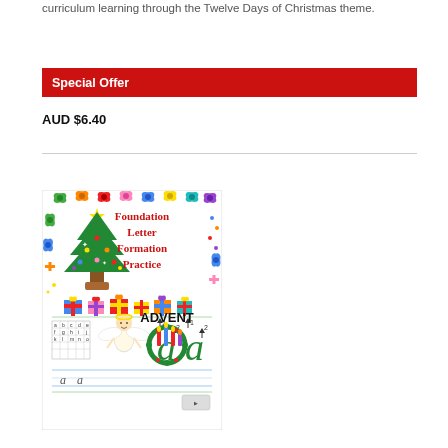curriculum learning through the Twelve Days of Christmas theme.
Special Offer
AUD $6.40
[Figure (illustration): Book cover for Foundation Letter Formation Practice with Christmas theme. Shows a decorated Christmas tree, colorful gift bows, an angel figure, letter formation examples with arrows (letter 'a'), an advent wreath with candles, and the word ADVENT. Lower portion shows lined handwriting practice with the letter 'a'.]